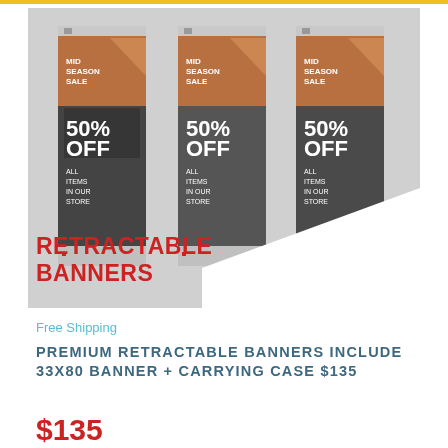[Figure (photo): Three retractable banner stands side by side on a grey background. Each banner features a 'Mid Season Sale 50% OFF All Items In Our Store' design with warm brown/black tones.]
RETRACTABLE BANNERS
Free Shipping
PREMIUM RETRACTABLE BANNERS INCLUDE 33X80 BANNER + CARRYING CASE $135
$135